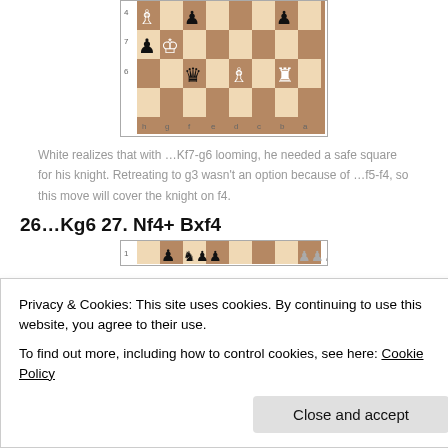[Figure (other): Chess board diagram showing a position with pieces: white bishop on h8-area, black pawn on f8-area, black pawn on b8-area (rank 8), black pawn on h7, white king on g7, black pawn on f7-area (rank 7), black queen on f6, white bishop on d6, white rook on b6 (rank 6). With rank/file labels h,g,f,e,d,c,b,a and numbers 4,7,6.]
White realizes that with …Kf7-g6 looming, he needed a safe square for his knight. Retreating to g3 wasn't an option because of …f5-f4, so this move will cover the knight on f4.
26…Kg6 27. Nf4+ Bxf4
[Figure (other): Partial chess board diagram (cropped at top), showing rank 1 area with some pieces visible.]
Privacy & Cookies: This site uses cookies. By continuing to use this website, you agree to their use.
To find out more, including how to control cookies, see here: Cookie Policy